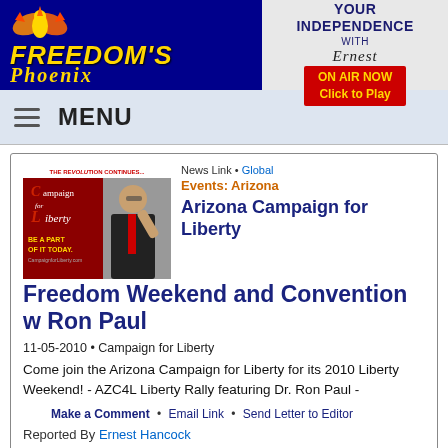Freedom's Phoenix | Declare Your Independence with Ernest Hancock — ON AIR NOW Click to Play
MENU
[Figure (screenshot): Article thumbnail showing Campaign for Liberty image with Ron Paul giving thumbs up]
News Link • Global
Events: Arizona
Arizona Campaign for Liberty Freedom Weekend and Convention w Ron Paul
11-05-2010 • Campaign for Liberty
Come join the Arizona Campaign for Liberty for its 2010 Liberty Weekend! - AZC4L Liberty Rally featuring Dr. Ron Paul -
Make a Comment • Email Link • Send Letter to Editor
Reported By Ernest Hancock